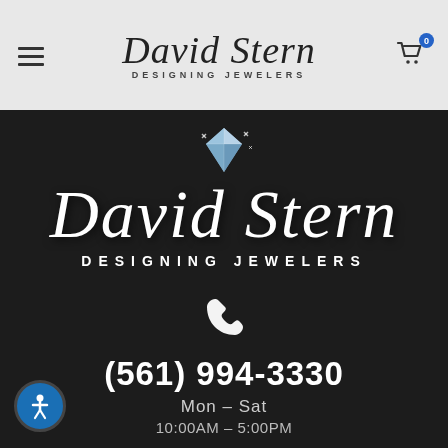David Stern Designing Jewelers — navigation header
[Figure (logo): Large David Stern Designing Jewelers logo with diamond gem on dark background]
(561) 994-3330
Mon – Sat
10:00AM – 5:00PM